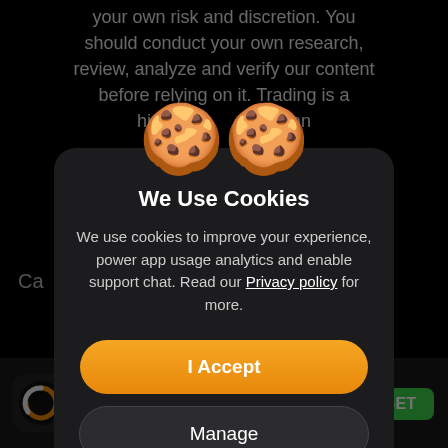your own risk and discretion. You should conduct your own research, review, analyze and verify our content before relying on it. Trading is a highly... that can
[Figure (illustration): Two cartoon cookie emojis with smiling faces used as decorative header for the cookie consent modal]
We Use Cookies
We use cookies to improve your experience, power app usage analytics and enable support chat. Read our Privacy policy for more.
I Accept
Manage
(935K)
GET